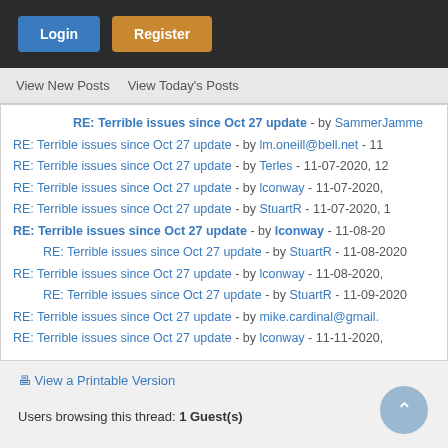Login | Register
View New Posts | View Today's Posts
RE: Terrible issues since Oct 27 update - by SammerJamme
RE: Terrible issues since Oct 27 update - by lm.oneill@bell.net - 11
RE: Terrible issues since Oct 27 update - by Terles - 11-07-2020, 12
RE: Terrible issues since Oct 27 update - by lconway - 11-07-2020,
RE: Terrible issues since Oct 27 update - by StuartR - 11-07-2020, 1
RE: Terrible issues since Oct 27 update - by lconway - 11-08-20
RE: Terrible issues since Oct 27 update - by StuartR - 11-08-2020
RE: Terrible issues since Oct 27 update - by lconway - 11-08-2020,
RE: Terrible issues since Oct 27 update - by StuartR - 11-09-2020
RE: Terrible issues since Oct 27 update - by mike.cardinal@gmail.
RE: Terrible issues since Oct 27 update - by lconway - 11-11-2020,
View a Printable Version
Users browsing this thread: 1 Guest(s)